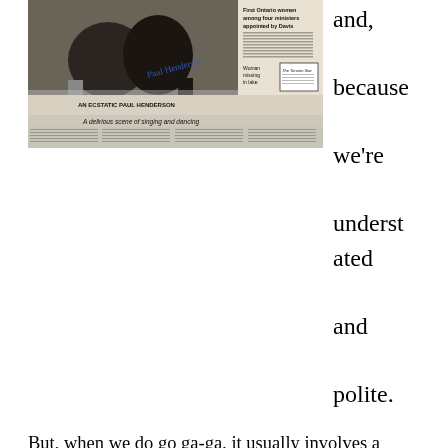[Figure (photo): A signed black-and-white newspaper front page photo of Paul Henderson celebrating on ice during the 1972 Summit Series, with newspaper headlines visible including 'AN ECSTATIC PAUL HENDERSON' and 'A delirious scene of singing and dancing' and 'First Ontario women among four ministers appointed by Davis']
and, because we're understated and polite.
But, when we do go ga-ga, it usually involves a hockey puck, like the one Paul Henderson slid under Soviet Union goaltender Vladislav Tretiak in September 1972, thus plopping the lid on a shinny cold war called the Summit Series and igniting a nation-wide hooraw.
I recall quite vividly where I was the moment Henderson, Espo, ankle-breaking Bobby Clarke et al put the Soviets in